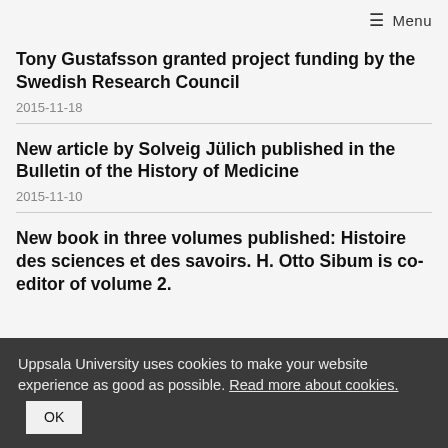≡ Menu
Tony Gustafsson granted project funding by the Swedish Research Council
2015-11-18
New article by Solveig Jülich published in the Bulletin of the History of Medicine
2015-11-10
New book in three volumes published: Histoire des sciences et des savoirs. H. Otto Sibum is co-editor of volume 2.
Uppsala University uses cookies to make your website experience as good as possible. Read more about cookies.